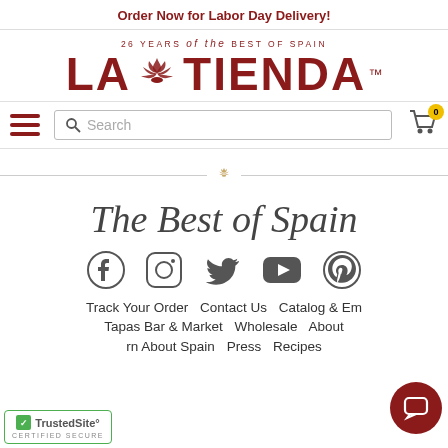Order Now for Labor Day Delivery!
[Figure (logo): La Tienda logo with tagline '26 YEARS of the BEST OF SPAIN' and scallop shell icon]
[Figure (screenshot): Navigation bar with hamburger menu, search box, and shopping cart with 0 items]
[Figure (illustration): Decorative scallop shell divider]
The Best of Spain
[Figure (infographic): Social media icons: Facebook, Instagram, Twitter, YouTube, Pinterest]
Track Your Order   Contact Us   Catalog & Em...
Tapas Bar & Market   Wholesale   About...
...rn About Spain   Press   Recipes
[Figure (logo): TrustedSite Certified Secure badge]
[Figure (illustration): Red circular chat/support button]